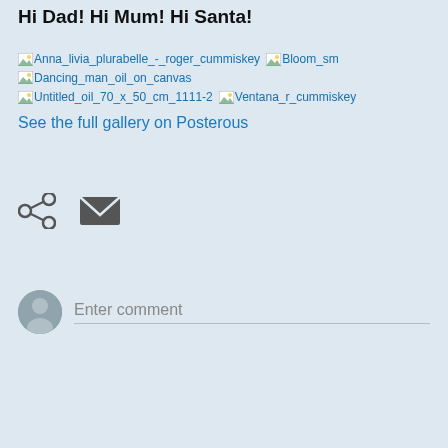Hi Dad! Hi Mum! Hi Santa!
[Figure (screenshot): Gallery of broken image thumbnails with filenames: Anna_livia_plurabelle_-_roger_cummiskey, Bloom_sm, Dancing_man_oil_on_canvas, Untitled_oil_70_x_50_cm_1111-2, Ventana_r_cummiskey]
See the full gallery on Posterous
[Figure (other): Share icon (connected dots) and mail envelope icon]
[Figure (other): User avatar circle with Enter comment text field and underline]